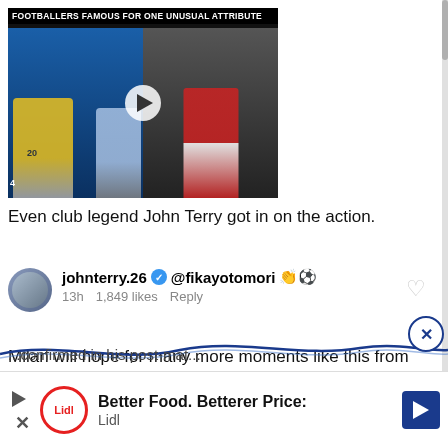[Figure (screenshot): Video thumbnail with title 'Footballers Famous For One Unusual Attribute' showing two football/soccer action images side by side with a play button in the center]
Even club legend John Terry got in on the action.
johnterry.26 ✓ @fikayotomori 👏⚽
13h   1,849 likes   Reply
Milan will hope for many more moments like this from Tomori, as they try to tie him down permanently.
...confirmed in his post-mat...
[Figure (screenshot): Lidl advertisement banner: Better Food. Betterer Price: Lidl]